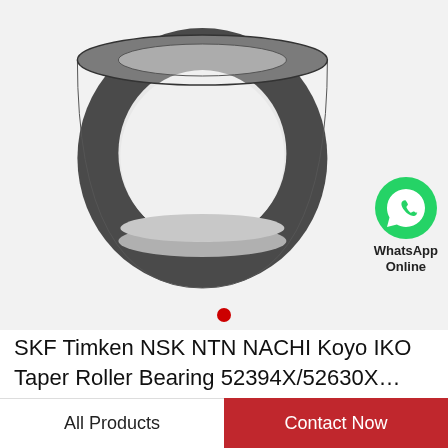[Figure (photo): A tapered roller bearing cup/race ring shown from a slight angle. The ring is metallic gray/silver on the inner surface and dark gray on the outer rim. A WhatsApp Online badge appears in the lower-right corner of the image area, with a green WhatsApp phone icon and text 'WhatsApp Online'.]
SKF Timken NSK NTN NACHI Koyo IKO Taper Roller Bearing 52394X/52630X…
All Products
Contact Now